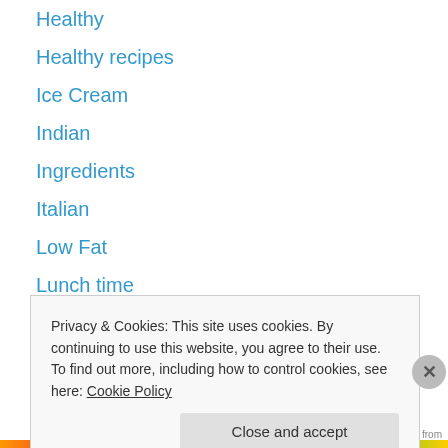Healthy
Healthy recipes
Ice Cream
Indian
Ingredients
Italian
Low Fat
Lunch time
Manicure
Mexican
Muffins
No bake
Pasta
potato
Privacy & Cookies: This site uses cookies. By continuing to use this website, you agree to their use. To find out more, including how to control cookies, see here: Cookie Policy
Close and accept